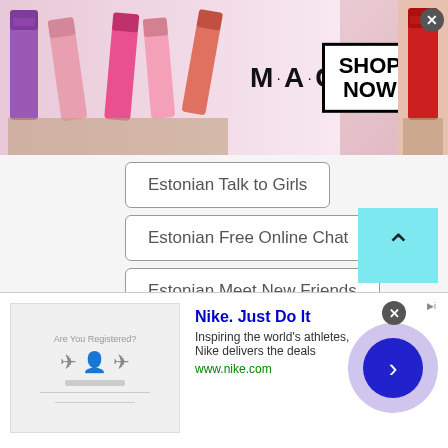[Figure (screenshot): MAC cosmetics advertisement banner with lipsticks and SHOP NOW button]
Estonian Talk to Girls
Estonian Free Online Chat
Estonian Meet New Friends
Estonian World Chat
Estonian International Chat
Estonian Depression Chat
Estonian TWS Chat Avenue
[Figure (screenshot): Nike advertisement banner: Nike. Just Do It. Inspiring the world's athletes, Nike delivers the deals. www.nike.com]